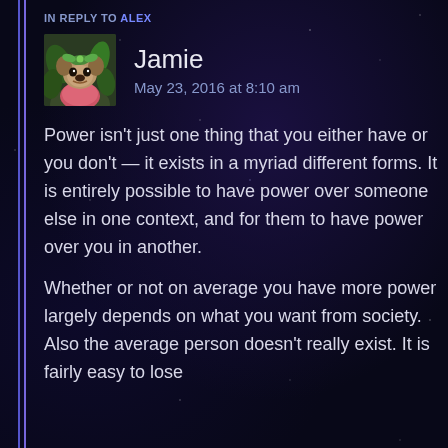IN REPLY TO ALEX
[Figure (photo): User avatar of Jamie — a pug dog wearing a bow]
Jamie
May 23, 2016 at 8:10 am
Power isn’t just one thing that you either have or you don’t — it exists in a myriad different forms. It is entirely possible to have power over someone else in one context, and for them to have power over you in another.
Whether or not on average you have more power largely depends on what you want from society. Also the average person doesn’t really exist. It is fairly easy to lose